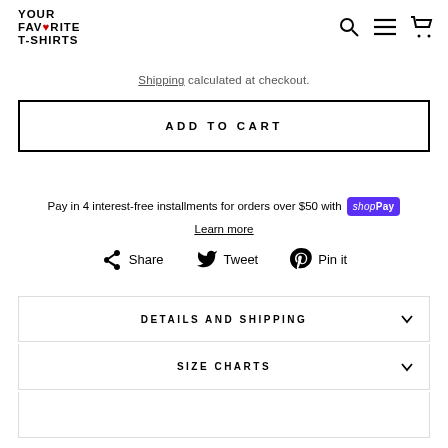Your Favourite T-Shirts [logo with navigation icons: search, menu, cart]
Shipping calculated at checkout.
ADD TO CART
Pay in 4 interest-free installments for orders over $50 with Shop Pay
Learn more
Share  Tweet  Pin it
DETAILS AND SHIPPING
SIZE CHARTS